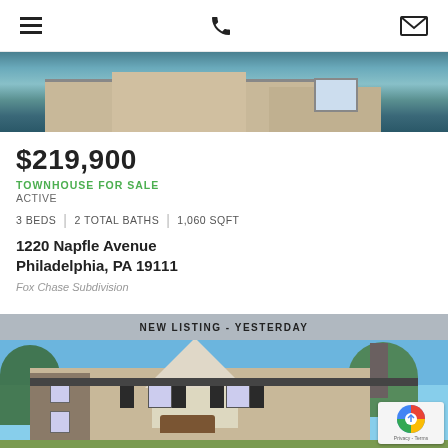Navigation header with hamburger menu, phone icon, and mail icon
[Figure (photo): Top portion of a house photo, partially visible at top of page]
$219,900
TOWNHOUSE FOR SALE
ACTIVE
3 BEDS | 2 TOTAL BATHS | 1,060 SQFT
1220 Napfle Avenue Philadelphia, PA 19111
Fox Chase Subdivision
NEW LISTING - YESTERDAY
[Figure (photo): Exterior photo of a two-story townhouse/colonial style home with white and tan siding, dark shutters, stone accents, and trees in background under blue sky]